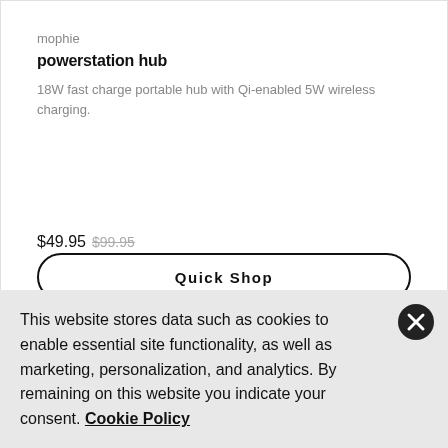mophie
powerstation hub
18W fast charge portable hub with Qi-enabled 5W wireless charging.
$49.95  $99.95
Quick Shop
This website stores data such as cookies to enable essential site functionality, as well as marketing, personalization, and analytics. By remaining on this website you indicate your consent. Cookie Policy